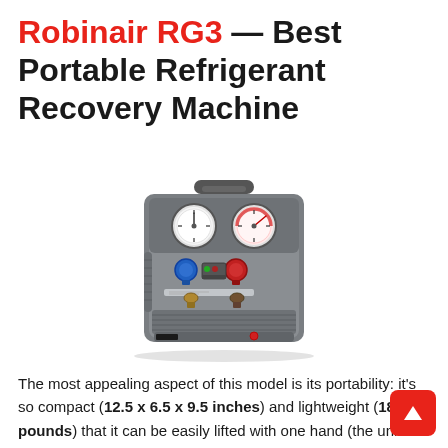Robinair RG3 — Best Portable Refrigerant Recovery Machine
[Figure (photo): Robinair RG3 portable refrigerant recovery machine — gray compact unit with two gauges (white and red), blue and red port connectors, ventilation grille on front, carrying handle on top.]
The most appealing aspect of this model is its portability: it's so compact (12.5 x 6.5 x 9.5 inches) and lightweight (18 pounds) that it can be easily lifted with one hand (the unit has a carrying handle). So, you can consider it the best refrigerant recovery machine in terms of